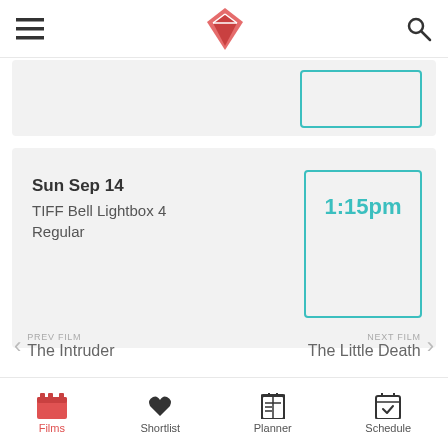TIFF app header with hamburger menu, logo, and search icon
Sun Sep 14
TIFF Bell Lightbox 4
Regular
1:15pm
PREV FILM
The Intruder
NEXT FILM
The Little Death
Films  Shortlist  Planner  Schedule